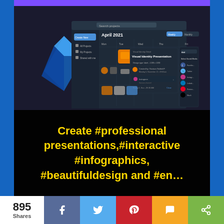[Figure (screenshot): App screenshot showing a project management calendar interface for April 2021 with 'Visual Identity Presentation' event detail panel, dark themed dashboard with sidebar navigation, and a social media sharing sidebar on the right.]
Create #professional presentations,#interactive #infographics, #beautifuldesign and #en…
895 Shares